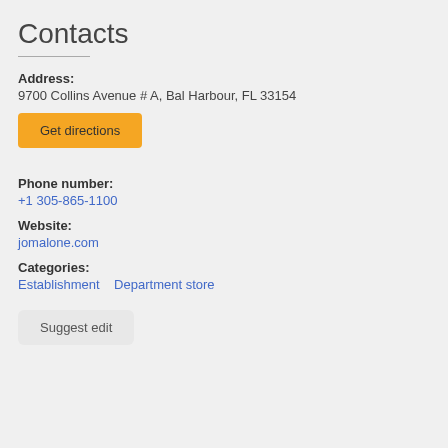Contacts
Address:
9700 Collins Avenue # A, Bal Harbour, FL 33154
Get directions
Phone number:
+1 305-865-1100
Website:
jomalone.com
Categories:
Establishment   Department store
Suggest edit